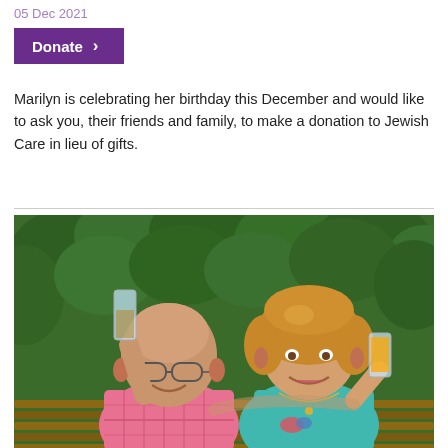05 Dec 2021
Donate >
Marilyn is celebrating her birthday this December and would like to ask you, their friends and family, to make a donation to Jewish Care in lieu of gifts.
[Figure (photo): An elderly man in a pink plaid shirt and an elderly woman in a teal top sitting together outdoors, both smiling and holding drinks up in a toast, with green foliage in the background.]